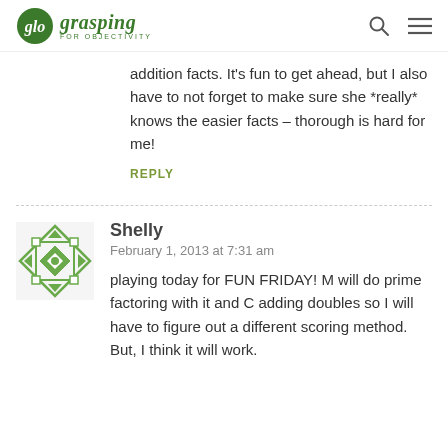glo grasping FOR OBJECTIVITY
addition facts. It's fun to get ahead, but I also have to not forget to make sure she *really* knows the easier facts – thorough is hard for me!
REPLY
Shelly
February 1, 2013 at 7:31 am
playing today for FUN FRIDAY! M will do prime factoring with it and C adding doubles so I will have to figure out a different scoring method. But, I think it will work.